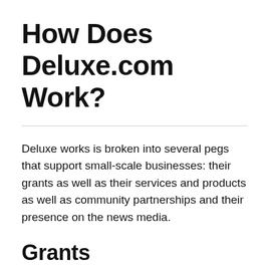How Does Deluxe.com Work?
Deluxe works is broken into several pegs that support small-scale businesses: their grants as well as their services and products as well as community partnerships and their presence on the news media.
Grants
They help many communities with millions of dollars in annual grants.